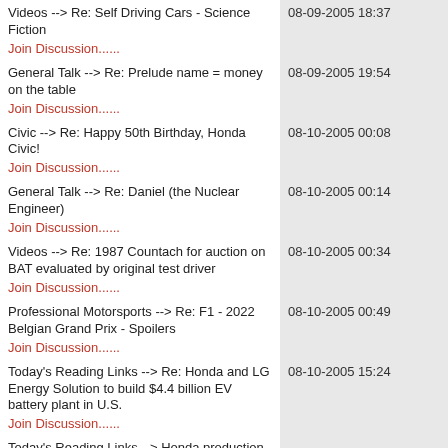Videos --> Re: Self Driving Cars - Science Fiction
Join Discussion......
08-09-2005 18:37
General Talk --> Re: Prelude name = money on the table
Join Discussion......
08-09-2005 19:54
Civic --> Re: Happy 50th Birthday, Honda Civic!
Join Discussion......
08-10-2005 00:08
General Talk --> Re: Daniel (the Nuclear Engineer)
Join Discussion......
08-10-2005 00:14
Videos --> Re: 1987 Countach for auction on BAT evaluated by original test driver
Join Discussion......
08-10-2005 00:34
Professional Motorsports --> Re: F1 - 2022 Belgian Grand Prix - Spoilers
Join Discussion......
08-10-2005 00:49
Today's Reading Links --> Re: Honda and LG Energy Solution to build $4.4 billion EV battery plant in U.S.
Join Discussion......
08-10-2005 15:24
Today's Reading Links --> Honda production woes cont. and diversify from China
Join Discussion......
Professional Motorsports --> Re: Acura reveals ARX-06 GTP car with Indycar engine
08-10-2005 19:57